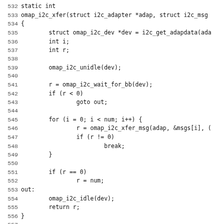Source code listing lines 532-563 of omap i2c driver, showing omap_i2c_xfer and omap_i2c_func functions in C